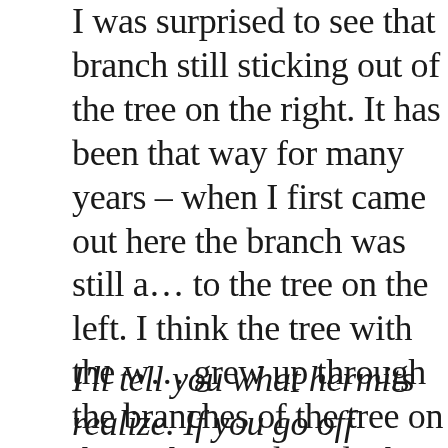I was surprised to see that branch still sticking out of the tree on the right. It has been that way for many years – when I first came out here the branch was still attached to the tree on the left. I think the tree with the wound grew up through the branches of the tree on the left and the wind made the wounded tree rub against the dead branch. Over time the tree grew and its wound grew deeper until now it has partially healed over the branch. When I first saw it, I thought that one day it would heal over completely but now I doubt it. It is an unusual thing to see and this is the only time I've seen it happen.
I'll tell you what hermits realize. If you go off into the forest and get very quiet, you'll come to underst...